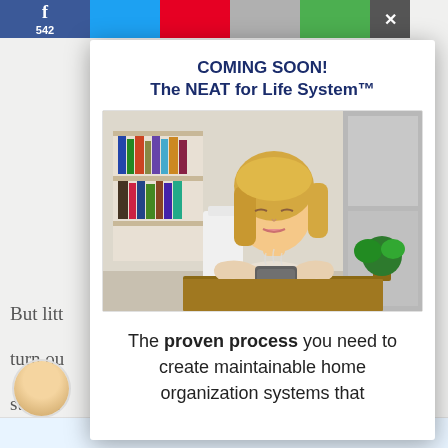[Figure (screenshot): Website screenshot showing a modal popup overlaying a blog article page. The modal advertises 'COMING SOON! The NEAT for Life System™' with a photo of a relaxed woman holding a coffee mug and descriptive text below.]
COMING SOON!
The NEAT for Life System™
[Figure (photo): Photo of a relaxed blonde woman with eyes closed, holding a gray coffee mug near her face, seated at a table in a bright organized home interior with bookshelves in background.]
The proven process you need to create maintainable home organization systems that